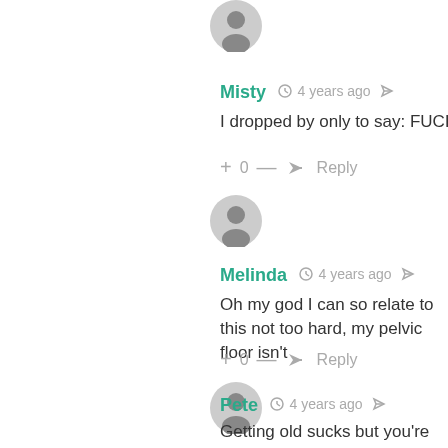[Figure (illustration): Grey circular avatar for user Misty]
Misty  4 years ago
I dropped by only to say: FUCKIN
+ 0 — ➜ Reply
[Figure (illustration): Grey circular avatar for user Melinda]
Melinda  4 years ago
Oh my god I can so relate to this not too hard, my pelvic floor isn't
+ 0 — ➜ Reply
[Figure (illustration): Grey circular avatar for user Pete]
Pete  4 years ago
Getting old sucks but you're right nobody ever asks if I need help t